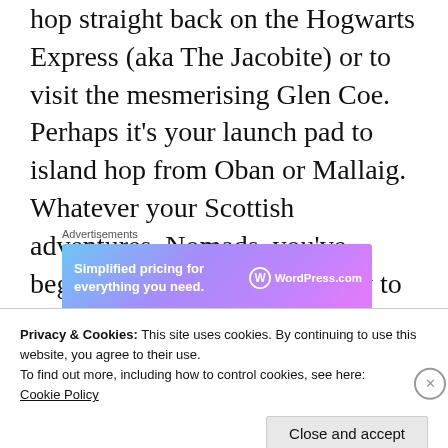hop straight back on the Hogwarts Express (aka The Jacobite) or to visit the mesmerising Glen Coe. Perhaps it's your launch pad to island hop from Oban or Mallaig. Whatever your Scottish adventures, Nomads, you've begun them with the right way to travel.
Advertisements
[Figure (other): WordPress.com advertisement banner with gradient purple/blue background reading 'Simplified pricing for everything you need. WordPress.com']
Now you've got the train bug, how about
Privacy & Cookies: This site uses cookies. By continuing to use this website, you agree to their use.
To find out more, including how to control cookies, see here:
Cookie Policy
Close and accept